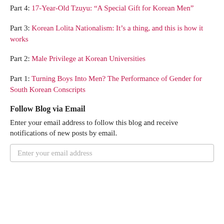Part 4: 17-Year-Old Tzuyu: “A Special Gift for Korean Men”
Part 3: Korean Lolita Nationalism: It’s a thing, and this is how it works
Part 2: Male Privilege at Korean Universities
Part 1: Turning Boys Into Men? The Performance of Gender for South Korean Conscripts
Follow Blog via Email
Enter your email address to follow this blog and receive notifications of new posts by email.
Enter your email address